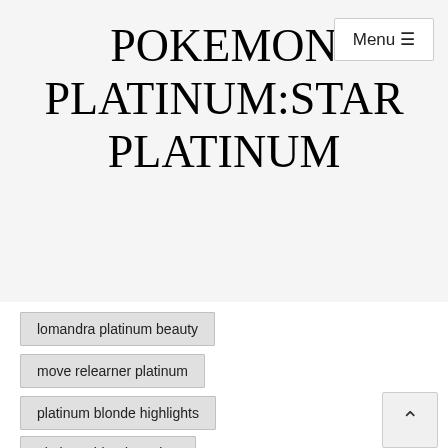POKEMON PLATINUM:STAR PLATINUM
lomandra platinum beauty
move relearner platinum
platinum blonde highlights
platinum blonde ombre
platinum bubba strain
platinum cookies
platinum density
platinum hair dye
platinum hair men
platinum motors
platinum motorsports